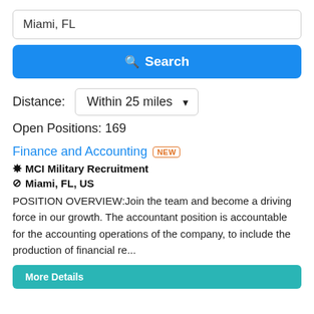Miami, FL
Search
Distance: Within 25 miles
Open Positions: 169
Finance and Accounting NEW
MCI Military Recruitment
Miami, FL, US
POSITION OVERVIEW:Join the team and become a driving force in our growth. The accountant position is accountable for the accounting operations of the company, to include the production of financial re...
More Details